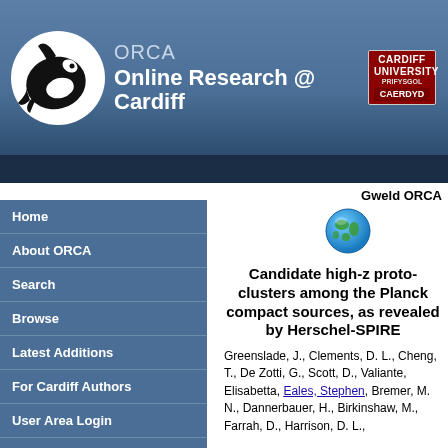ORCA Online Research @ Cardiff
Home
About ORCA
Search
Browse
Latest Additions
Policies
Contact Us
For Cardiff Authors
User Area Login
How to Add Research
Gweld ORCA
[Figure (illustration): Globe icon (earth illustration)]
Candidate high-z proto-clusters among the Planck compact sources, as revealed by Herschel-SPIRE
Greenslade, J., Clements, D. L., Cheng, T., De Zotti, G., Scott, D., Valiante, Elisabetta, Eales, Stephen, Bremer, M. N., Dannerbauer, H., Birkinshaw, M., Farrah, D., Harrison, D. L.,